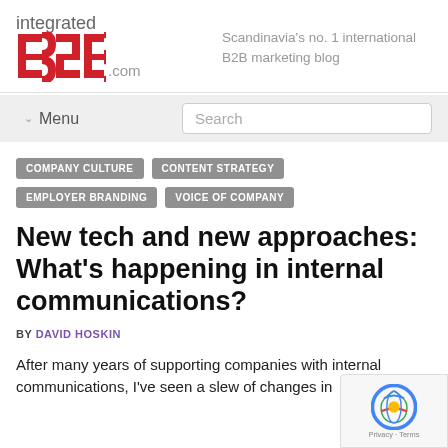[Figure (logo): integrated B2B .com logo with red B2B text]
Scandinavia's no. 1 international B2B marketing blog
Menu  Search
COMPANY CULTURE
CONTENT STRATEGY
EMPLOYER BRANDING
VOICE OF COMPANY
New tech and new approaches: What's happening in internal communications?
BY DAVID HOSKIN
After many years of supporting companies with internal communications, I've seen a slew of changes in